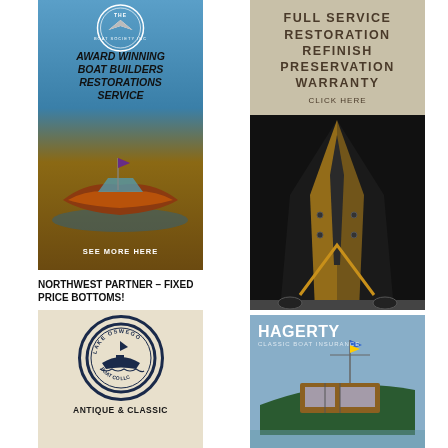[Figure (illustration): Award winning boat builders restorations service ad with classic wooden speedboat on water, boat society logo at top, 'SEE MORE HERE' at bottom]
[Figure (illustration): Full service restoration, refinish, preservation, warranty ad showing black and wood vintage boat bow from front, 'CLICK HERE' text]
NORTHWEST PARTNER – FIXED PRICE BOTTOMS!
[Figure (logo): Lake Oswego Boat Co LLC circle logo with antique boat silhouette, 'ANTIQUE & CLASSIC' text below]
[Figure (illustration): Hagerty Classic Boat Insurance ad with classic wooden cruiser boat]